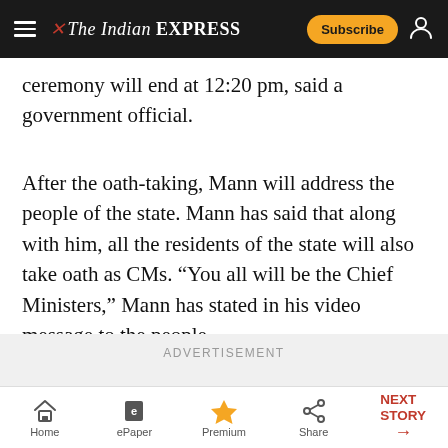The Indian EXPRESS — Subscribe
ceremony will end at 12:20 pm, said a government official.
After the oath-taking, Mann will address the people of the state. Mann has said that along with him, all the residents of the state will also take oath as CMs. “You all will be the Chief Ministers,” Mann has stated in his video message to the people.
ADVERTISEMENT
Home | ePaper | Premium | Share | NEXT STORY